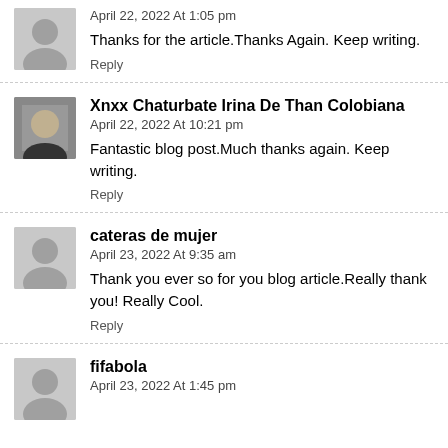April 22, 2022 At 1:05 pm
Thanks for the article.Thanks Again. Keep writing.
Reply
Xnxx Chaturbate Irina De Than Colobiana
April 22, 2022 At 10:21 pm
Fantastic blog post.Much thanks again. Keep writing.
Reply
cateras de mujer
April 23, 2022 At 9:35 am
Thank you ever so for you blog article.Really thank you! Really Cool.
Reply
fifabola
April 23, 2022 At 1:45 pm